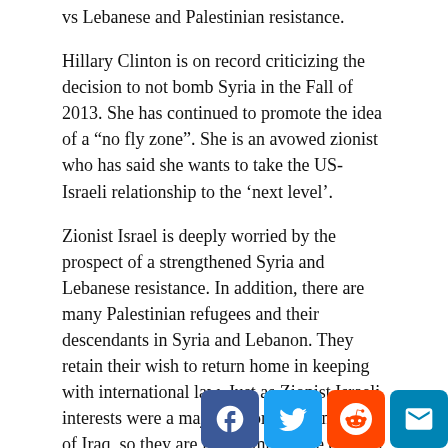vs Lebanese and Palestinian resistance.
Hillary Clinton is on record criticizing the decision to not bomb Syria in the Fall of 2013. She has continued to promote the idea of a “no fly zone”. She is an avowed zionist who has said she wants to take the US-Israeli relationship to the ‘next level’.
Zionist Israel is deeply worried by the prospect of a strengthened Syria and Lebanese resistance. In addition, there are many Palestinian refugees and their descendants in Syria and Lebanon. They retain their wish to return home in keeping with international law. Just as Zionist Israeli interests were a major factor in the invasion of Iraq, so they are in continuing the conflict in Syria. In addition, neocons have not given up their goal of a “new American century”.
What Has been the role of the West